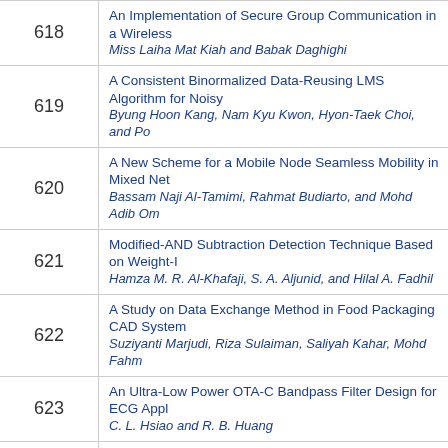| # | Title / Authors |
| --- | --- |
| 618 | An Implementation of Secure Group Communication in a Wireless ...
Miss Laiha Mat Kiah and Babak Daghighi |
| 619 | A Consistent Binormalized Data-Reusing LMS Algorithm for Noisy...
Byung Hoon Kang, Nam Kyu Kwon, Hyon-Taek Choi, and Po... |
| 620 | A New Scheme for a Mobile Node Seamless Mobility in Mixed Net...
Bassam Naji Al-Tamimi, Rahmat Budiarto, and Mohd Adib Om... |
| 621 | Modified-AND Subtraction Detection Technique Based on Weight-I...
Hamza M. R. Al-Khafaji, S. A. Aljunid, and Hilal A. Fadhil |
| 622 | A Study on Data Exchange Method in Food Packaging CAD System...
Suziyanti Marjudi, Riza Sulaiman, Saliyah Kahar, Mohd Fahm... |
| 623 | An Ultra-Low Power OTA-C Bandpass Filter Design for ECG Appl...
C. L. Hsiao and R. B. Huang |
| 624 | Real of Simply Assembly Line Balancing using Fact-Model
Haeryip Sihombing, Habibullah Akbar, Puvanasvaran Peruma... Razak |
| 625 | Implementation of an Automatic Vehicle Driving System on a Singl...
A. Farahani and B. Ghiaseddin |
| 626 | Digital Multi-Bit Sigma-Delta Controller for Synchronous Buck DC...
B. Abdi, T. Moosazadeh, and J. S. Moghani |
| 627 | Impulse Noise Removal from Images: A Wavelet Network Approac... |